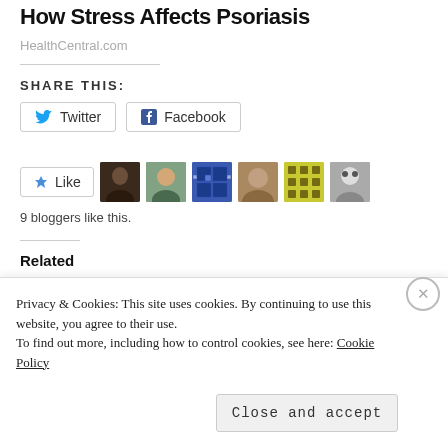How Stress Affects Psoriasis
HealthCentral.com
SHARE THIS:
[Figure (screenshot): Twitter and Facebook share buttons]
[Figure (screenshot): Like button with 6 blogger avatar thumbnails]
9 bloggers like this.
Related
Here's a Better Idea
November 18, 2015
#GivingTuesday
December 1, 2015
Privacy & Cookies: This site uses cookies. By continuing to use this website, you agree to their use.
To find out more, including how to control cookies, see here: Cookie Policy
Close and accept